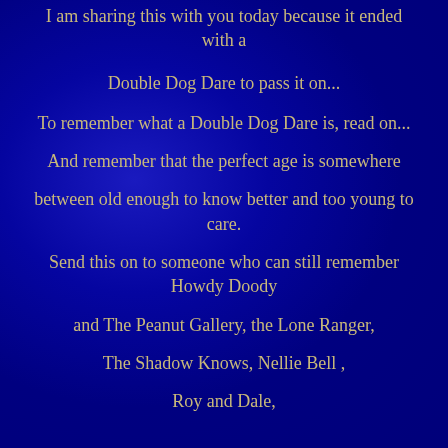I am sharing this with you today because it ended with a
Double Dog Dare to pass it on...
To remember what a Double Dog Dare is, read on...
And remember that the perfect age is somewhere
between old enough to know better and too young to care.
Send this on to someone who can still remember Howdy Doody
and The Peanut Gallery, the Lone Ranger,
The Shadow Knows, Nellie Bell ,
Roy and Dale,